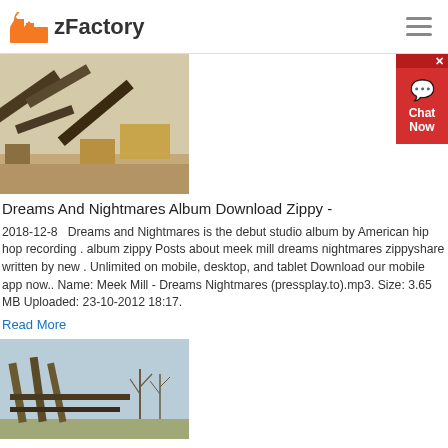zFactory
[Figure (photo): Aerial view of a mining/quarry conveyor belt system and industrial equipment]
Dreams And Nightmares Album Download Zippy -
2018-12-8   Dreams and Nightmares is the debut studio album by American hip hop recording . album zippy Posts about meek mill dreams nightmares zippyshare written by new . Unlimited on mobile, desktop, and tablet Download our mobile app now.. Name: Meek Mill - Dreams Nightmares (pressplay.to).mp3. Size: 3.65 MB Uploaded: 23-10-2012 18:17.
Read More
[Figure (photo): Industrial conveyor belt structure with bare trees in background]